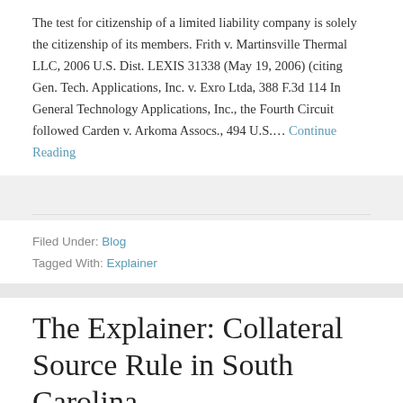The test for citizenship of a limited liability company is solely the citizenship of its members. Frith v. Martinsville Thermal LLC, 2006 U.S. Dist. LEXIS 31338 (May 19, 2006) (citing Gen. Tech. Applications, Inc. v. Exro Ltda, 388 F.3d 114 In General Technology Applications, Inc., the Fourth Circuit followed Carden v. Arkoma Assocs., 494 U.S.… Continue Reading
Filed Under: Blog
Tagged With: Explainer
The Explainer: Collateral Source Rule in South Carolina
January 3, 2010 by Christian Stegmaier
In South Carolina, the Collateral Source Rule provides that